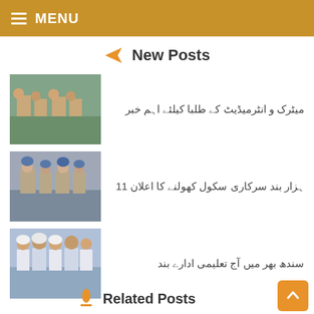MENU
New Posts
میٹرک و انٹرمیڈیٹ کے طلبا کیلئے اہم خبر
ہزار بند سرکاری سکول کھولنے کا اعلان 11
سندھ بھر میں آج تعلیمی ادارے بند
Related Posts